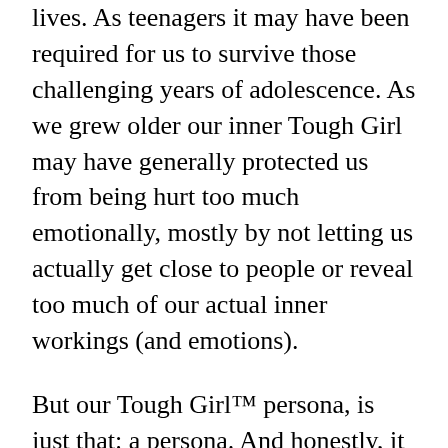lives. As teenagers it may have been required for us to survive those challenging years of adolescence. As we grew older our inner Tough Girl may have generally protected us from being hurt too much emotionally, mostly by not letting us actually get close to people or reveal too much of our actual inner workings (and emotions).
But our Tough Girl™ persona, is just that: a persona. And honestly, it is more than likely that plenty of people saw through it while simultaneously going along with it.